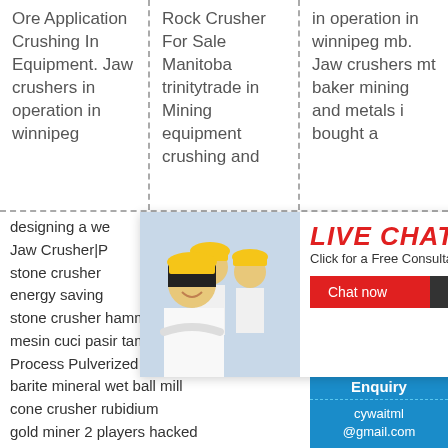Ore Application Crushing In Equipment. Jaw crushers in operation in winnipeg
Rock Crusher For Sale Manitoba trinitytrade in Mining equipment crushing and
in operation in winnipeg mb. Jaw crushers mt baker mining and metals i bought a
designing a we
Jaw Crusher|P
stone crusher
energy saving
stone crusher hamme
mesin cuci pasir tambang emas
Process Pulverized Schenck
barite mineral wet ball mill
cone crusher rubidium
gold miner 2 players hacked
stone crusher plf
[Figure (screenshot): Live chat popup overlay with workers in hard hats, LIVE CHAT title in red italic, 'Click for a Free Consultation' text, Chat now and Chat later buttons]
7 hours online
[Figure (illustration): Yellow smiley face emoji with headset]
Click me to chat >>
Enquiry
cywaitml@gmail.com